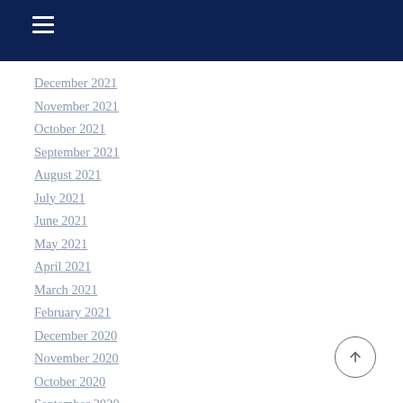Navigation header bar with hamburger menu
December 2021
November 2021
October 2021
September 2021
August 2021
July 2021
June 2021
May 2021
April 2021
March 2021
February 2021
December 2020
November 2020
October 2020
September 2020
August 2020
July 2020
June 2020